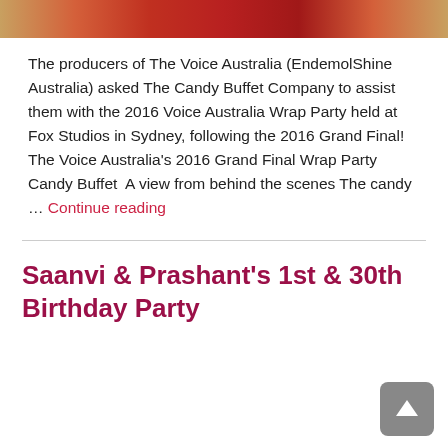[Figure (photo): Partial photo strip at top showing red and golden-toned food/candy items]
The producers of The Voice Australia (EndemolShine Australia) asked The Candy Buffet Company to assist them with the 2016 Voice Australia Wrap Party held at Fox Studios in Sydney, following the 2016 Grand Final!   The Voice Australia's 2016 Grand Final Wrap Party Candy Buffet  A view from behind the scenes  The candy … Continue reading
Saanvi & Prashant's 1st & 30th Birthday Party